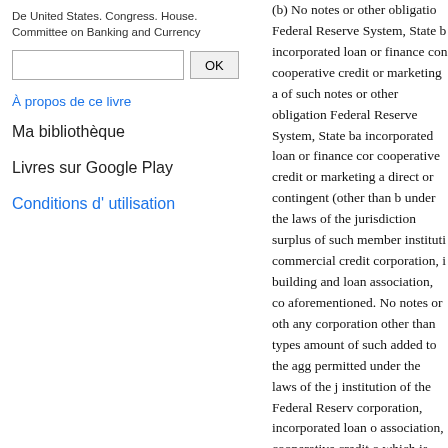De United States. Congress. House. Committee on Banking and Currency
OK
À propos de ce livre
Ma bibliothèque
Livres sur Google Play
Conditions d' utilisation
(b) No notes or other obligatio Federal Reserve System, State b incorporated loan or finance con cooperative credit or marketing a of such notes or other obligation Federal Reserve System, State ba incorporated loan or finance cor cooperative credit or marketing a direct or contingent (other than b under the laws of the jurisdiction surplus of such member instituti commercial credit corporation, i building and loan association, co aforementioned. No notes or oth any corporation other than types amount of such added to the agg permitted under the laws of the j institution of the Federal Reserv corporation, incorporated loan o association, cooperative credit o which is indebted to the corporat additional indebtedness, if by vi contingent, will exceed the limit